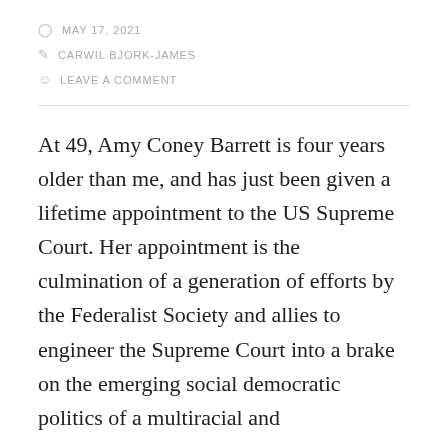MAY 17, 2021
CARWIL BJORK-JAMES
LEAVE A COMMENT
At 49, Amy Coney Barrett is four years older than me, and has just been given a lifetime appointment to the US Supreme Court. Her appointment is the culmination of a generation of efforts by the Federalist Society and allies to engineer the Supreme Court into a brake on the emerging social democratic politics of a multiracial and